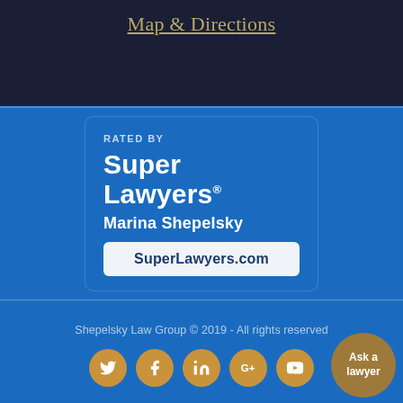Map & Directions
[Figure (logo): Super Lawyers badge: RATED BY Super Lawyers® Marina Shepelsky, SuperLawyers.com]
Shepelsky Law Group © 2019 - All rights reserved
[Figure (infographic): Social media icons: Twitter, Facebook, LinkedIn, Google+, YouTube circles in gold color]
Ask a lawyer